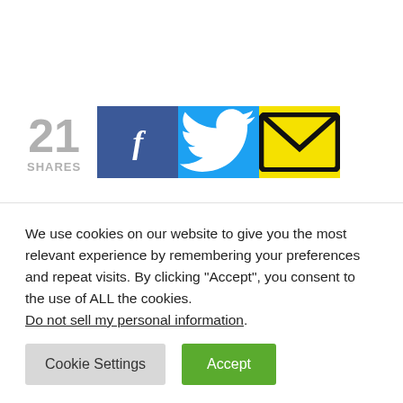[Figure (infographic): Social sharing bar showing 21 shares with Facebook (blue), Twitter (cyan), and Email (yellow) buttons]
if your shampoo, shower gel and rest of your
grooming essentials could talk, they would
We use cookies on our website to give you the most relevant experience by remembering your preferences and repeat visits. By clicking “Accept”, you consent to the use of ALL the cookies. Do not sell my personal information.
Cookie Settings
Accept